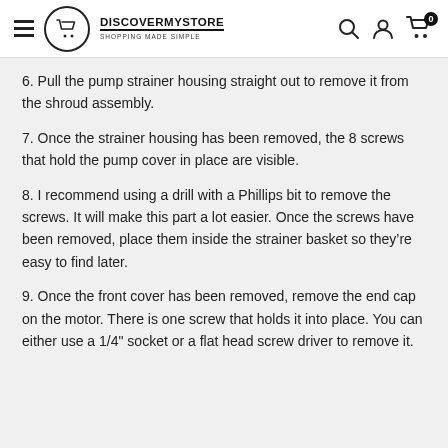DISCOVERMYSTORE SHOPPING MADE SIMPLE
6. Pull the pump strainer housing straight out to remove it from the shroud assembly.
7. Once the strainer housing has been removed, the 8 screws that hold the pump cover in place are visible.
8. I recommend using a drill with a Phillips bit to remove the screws. It will make this part a lot easier. Once the screws have been removed, place them inside the strainer basket so they’re easy to find later.
9. Once the front cover has been removed, remove the end cap on the motor. There is one screw that holds it into place. You can either use a 1/4" socket or a flat head screw driver to remove it.